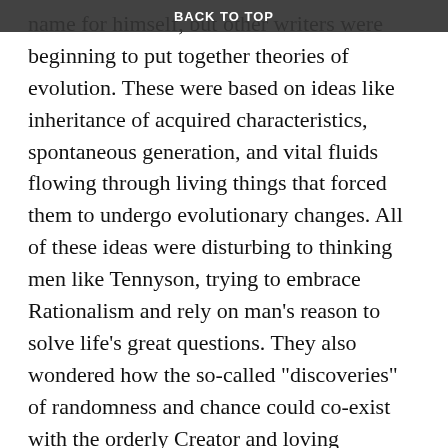BACK TO TOP
name for himself, but other writers were beginning to put together theories of evolution. These were based on ideas like inheritance of acquired characteristics, spontaneous generation, and vital fluids flowing through living things that forced them to undergo evolutionary changes. All of these ideas were disturbing to thinking men like Tennyson, trying to embrace Rationalism and rely on man’s reason to solve life’s great questions. They also wondered how the so-called “discoveries” of randomness and chance could co-exist with the orderly Creator and loving Sustainer of the Bible. The theories listed above have all since been discredited but more have sprung up to replace them. Tennyson’s final conclusion in the same set of poems, finished in 1849, includes the section above. It is usually placed first in the published versions but was probably written last. The emphasis is added to